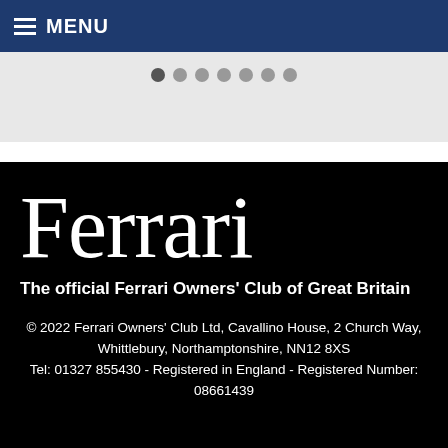MENU
[Figure (other): Carousel dot navigation showing 7 dots on a grey background]
Ferrari
The official Ferrari Owners' Club of Great Britain
© 2022 Ferrari Owners' Club Ltd, Cavallino House, 2 Church Way, Whittlebury, Northamptonshire, NN12 8XS Tel: 01327 855430 - Registered in England - Registered Number: 08661439